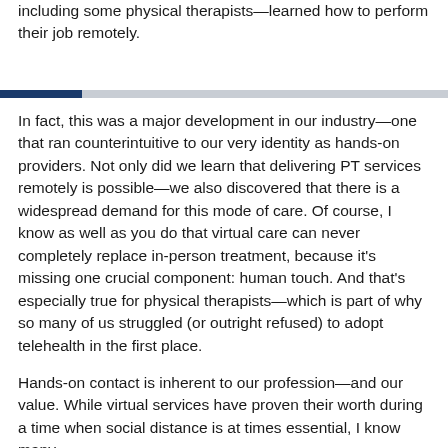including some physical therapists—learned how to perform their job remotely.
In fact, this was a major development in our industry—one that ran counterintuitive to our very identity as hands-on providers. Not only did we learn that delivering PT services remotely is possible—we also discovered that there is a widespread demand for this mode of care. Of course, I know as well as you do that virtual care can never completely replace in-person treatment, because it's missing one crucial component: human touch. And that's especially true for physical therapists—which is part of why so many of us struggled (or outright refused) to adopt telehealth in the first place.
Hands-on contact is inherent to our profession—and our value. While virtual services have proven their worth during a time when social distance is at times essential, I know many